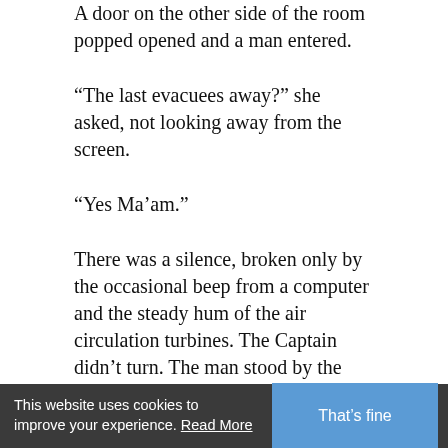A door on the other side of the room popped opened and a man entered.
“The last evacuees away?” she asked, not looking away from the screen.
“Yes Ma’am.”
There was a silence, broken only by the occasional beep from a computer and the steady hum of the air circulation turbines. The Captain didn’t turn. The man stood by the door, head down, unsure of what to do next.
“It’s strange. The very thing which gave Humanity life, gave us the galaxy itself, would be the one to kill us.” She turned and, hands by her sides, walked over to a bench by the door. The man could see that her eyes were red and bloodshot. “How long?” she
This website uses cookies to improve your experience. Read More | That’s fine